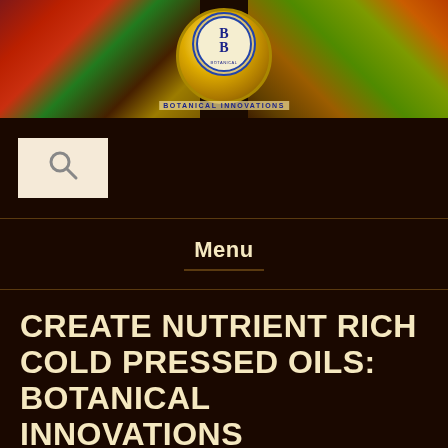[Figure (photo): Botanical Innovations header banner with fruits (red tomatoes, green grapes), nuts, seeds, and a bowl of golden oil in the center, with a circular blue and gold logo in the middle reading 'BB Botanical Innovations']
[Figure (logo): Search icon (magnifying glass) in a light beige square box on dark brown background]
Menu
CREATE NUTRIENT RICH COLD PRESSED OILS: BOTANICAL INNOVATIONS CONTRACT MANUFACTURING